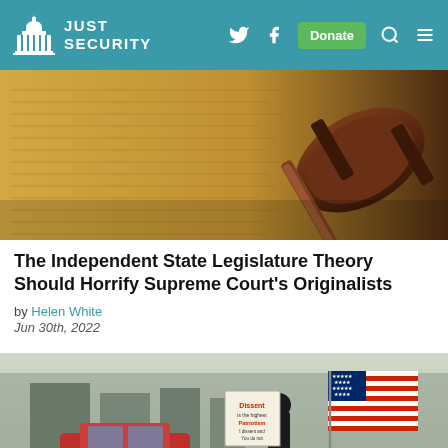Just Security — navigation bar with logo, Twitter, Facebook, Donate, Search, Menu
[Figure (photo): Photo of a gavel resting on aged handwritten document pages (Constitution/legislation), warm yellow-brown tones]
The Independent State Legislature Theory Should Horrify Supreme Court's Originalists
by Helen White
Jun 30th, 2022
[Figure (photo): Photo of a person on a bicycle carrying an American flag and a protest sign reading 'Dissent is the highest form of Patriotism, I dissent and you do not' in an urban street setting]
Protecting the Freedom of Peaceful Assembly After